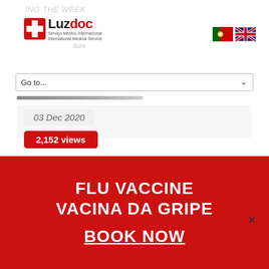[Figure (logo): Luzdoc medical services logo with red cross icon]
[Figure (photo): Portuguese flag icon]
[Figure (photo): UK flag icon]
Continue Reading
Go to...
03 Dec 2020
2,152 views
LUZDOC MEDICAL TEAM
Posted
No Comments
FLU VACCINE
VACINA DA GRIPE

BOOK NOW